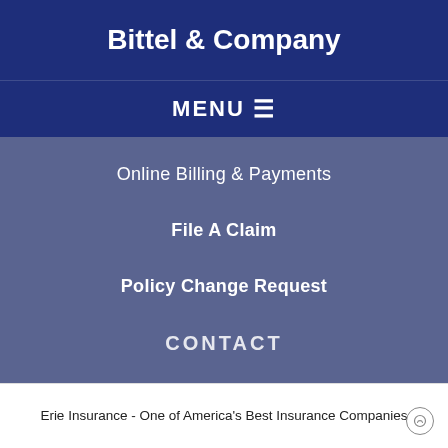Bittel & Company
MENU ≡
Online Billing & Payments
File A Claim
Policy Change Request
CONTACT
Erie Insurance - One of America's Best Insurance Companies